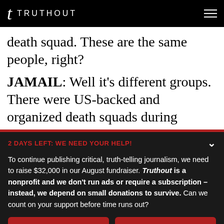t TRUTHOUT
death squad. These are the same people, right?
JAMAIL: Well it's different groups. There were US-backed and organized death squads during
2 DAYS LEFT: WE NEED YOUR HELP!
To continue publishing critical, truth-telling journalism, we need to raise $32,000 in our August fundraiser. Truthout is a nonprofit and we don't run ads or require a subscription – instead, we depend on small donations to survive. Can we count on your support before time runs out?
DONATE
DONATE MONTHLY